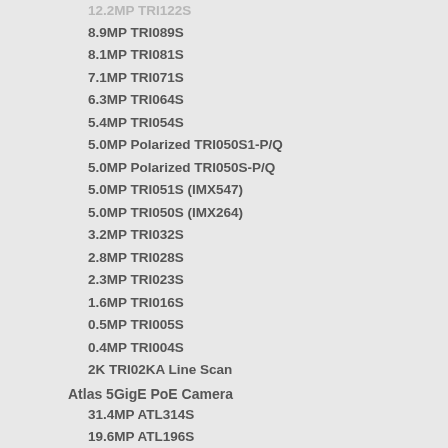12.2MP TRI122S
8.9MP TRI089S
8.1MP TRI081S
7.1MP TRI071S
6.3MP TRI064S
5.4MP TRI054S
5.0MP Polarized TRI050S1-P/Q
5.0MP Polarized TRI050S-P/Q
5.0MP TRI051S (IMX547)
5.0MP TRI050S (IMX264)
3.2MP TRI032S
2.8MP TRI028S
2.3MP TRI023S
1.6MP TRI016S
0.5MP TRI005S
0.4MP TRI004S
2K TRI02KA Line Scan
Atlas 5GigE PoE Camera
31.4MP ATL314S
19.6MP ATL196S